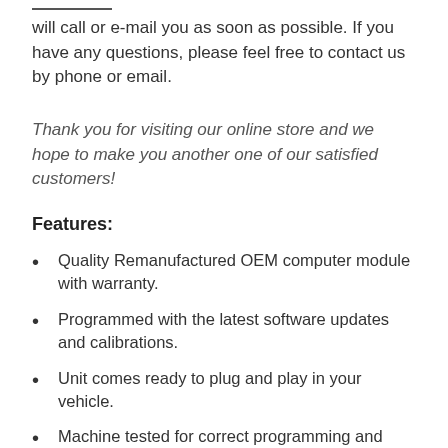will call or e-mail you as soon as possible. If you have any questions, please feel free to contact us by phone or email.
Thank you for visiting our online store and we hope to make you another one of our satisfied customers!
Features:
Quality Remanufactured OEM computer module with warranty.
Programmed with the latest software updates and calibrations.
Unit comes ready to plug and play in your vehicle.
Machine tested for correct programming and operation in simulated running conditions using